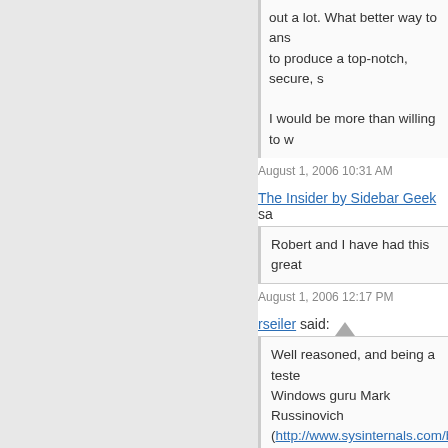out a lot. What better way to ans to produce a top-notch, secure, s
I would be more than willing to w
August 1, 2006 10:31 AM
The Insider by Sidebar Geek sa
Robert and I have had this great
August 1, 2006 12:17 PM
rseiler said:
Well reasoned, and being a teste Windows guru Mark Russinovich (http://www.sysinternals.com/blo Performance. As he mentioned, defragmenter, and regular volum Defender, another performance-s
August 1, 2006 3:03 PM